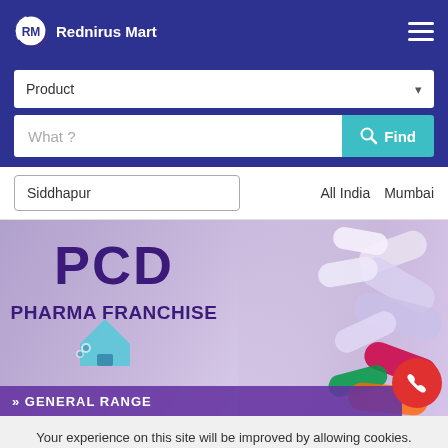Rednirus Mart
Product
What ?
Siddhapur   All India   Mumbai
[Figure (illustration): PCD Pharma Franchise banner with pills in background, showing text PCD and PHARMA FRANCHISE with GENERAL RANGE strip at bottom, and a pharmacy/factory icon. Red call button on the right.]
Your experience on this site will be improved by allowing cookies.
Allow cookies